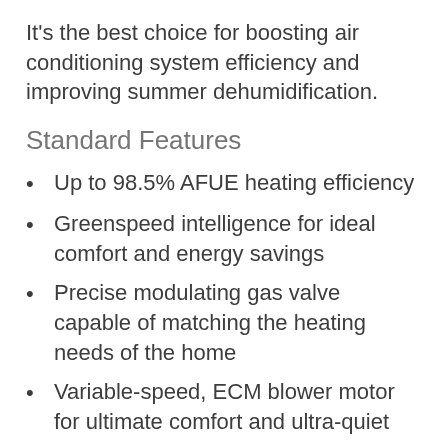It's the best choice for boosting air conditioning system efficiency and improving summer dehumidification.
Standard Features
Up to 98.5% AFUE heating efficiency
Greenspeed intelligence for ideal comfort and energy savings
Precise modulating gas valve capable of matching the heating needs of the home
Variable-speed, ECM blower motor for ultimate comfort and ultra-quiet